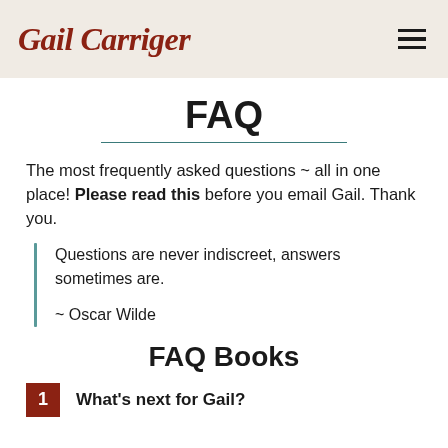Gail Carriger
FAQ
The most frequently asked questions ~ all in one place! Please read this before you email Gail. Thank you.
Questions are never indiscreet, answers sometimes are.

~ Oscar Wilde
FAQ Books
1. What's next for Gail?